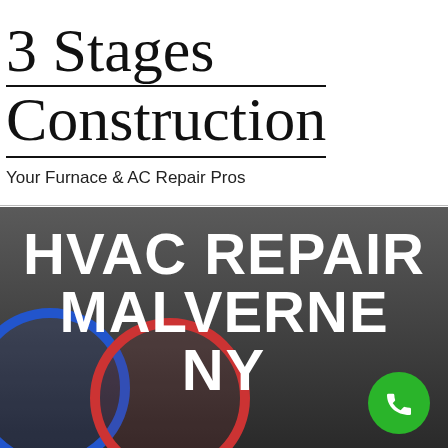3 Stages Construction
Your Furnace & AC Repair Pros
[Figure (infographic): Dark gray hero banner with large white bold text reading 'HVAC REPAIR MALVERNE NY', HVAC gauges visible in lower left, green phone call button in lower right corner.]